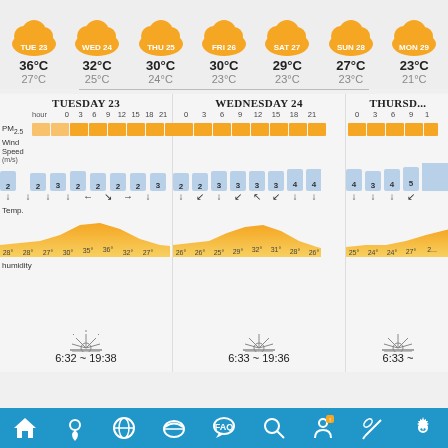[Figure (infographic): 7-day weather forecast with cloud icons showing TUE 23 through MON 29]
36°C 27°C | 32°C 25°C | 30°C 24°C | 30°C 23°C | 29°C 23°C | 27°C 23°C | 23°C 21°C
[Figure (infographic): Hourly detail for Tuesday 23, Wednesday 24, Thursday (partial) showing PM2.5, Wind Speed, Temperature, humidity]
6:32 ~ 19:38 | 6:33 ~ 19:36 | 6:33 ~
[Figure (infographic): Navigation bar with home, location, globe, mask, FAQ, search, user, link, settings icons]